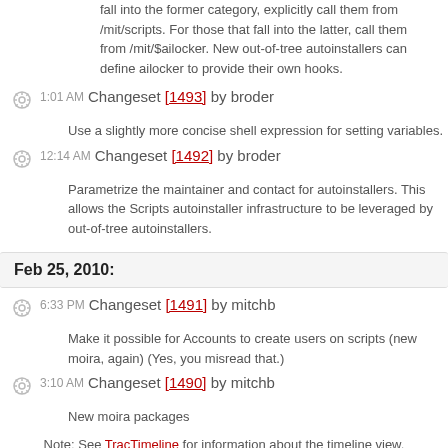fall into the former category, explicitly call them from /mit/scripts. For those that fall into the latter, call them from /mit/$ailocker. New out-of-tree autoinstallers can define ailocker to provide their own hooks.
1:01 AM Changeset [1493] by broder
Use a slightly more concise shell expression for setting variables.
12:14 AM Changeset [1492] by broder
Parametrize the maintainer and contact for autoinstallers. This allows the Scripts autoinstaller infrastructure to be leveraged by out-of-tree autoinstallers.
Feb 25, 2010:
6:33 PM Changeset [1491] by mitchb
Make it possible for Accounts to create users on scripts (new moira, again) (Yes, you misread that.)
3:10 AM Changeset [1490] by mitchb
New moira packages
Note: See TracTimeline for information about the timeline view.
Download in other formats:
RSS Feed
Powered by Trac 1.0.2 By Edgewall Software. Visit the Trac open source project at http://trac.edgewall.org/